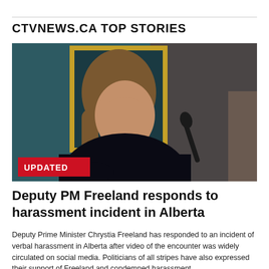CTVNEWS.CA TOP STORIES
[Figure (photo): Deputy PM Chrystia Freeland speaking at a microphone, wearing a dark outfit with a pearl necklace, in front of a gold-framed painting with teal background. An 'UPDATED' badge appears in the lower-left corner of the image.]
Deputy PM Freeland responds to harassment incident in Alberta
Deputy Prime Minister Chrystia Freeland has responded to an incident of verbal harassment in Alberta after video of the encounter was widely circulated on social media. Politicians of all stripes have also expressed their support of Freeland and condemned harassment.